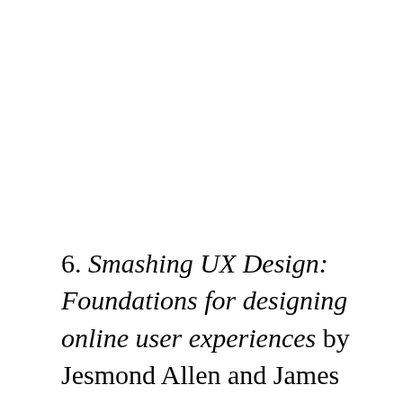6. Smashing UX Design: Foundations for designing online user experiences by Jesmond Allen and James Chudley. This book has everything. It will walk you through the idea of user centered design, teach you the details of how to do everything (stakeholder research, user research, wireframing, prototyping, user test, etc etc,) and then will show you how they did it with case studies. A great book for the UX practitioner whether